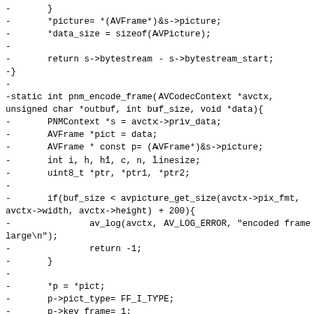-       }
-       *picture= *(AVFrame*)&s->picture;
-       *data_size = sizeof(AVPicture);
-
-       return s->bytestream - s->bytestream_start;
-}
-
-static int pnm_encode_frame(AVCodecContext *avctx, unsigned char *outbuf, int buf_size, void *data){
-       PNMContext *s = avctx->priv_data;
-       AVFrame *pict = data;
-       AVFrame * const p= (AVFrame*)&s->picture;
-       int i, h, h1, c, n, linesize;
-       uint8_t *ptr, *ptr1, *ptr2;
-
-       if(buf_size < avpicture_get_size(avctx->pix_fmt, avctx->width, avctx->height) + 200){
-               av_log(avctx, AV_LOG_ERROR, "encoded frame too large\n");
-               return -1;
-       }
-
-       *p = *pict;
-       p->pict_type= FF_I_TYPE;
-       p->key_frame= 1;
-
-       s->bytestream_start=
-       s->bytestream= outbuf;
-       s->bytestream_end= outbuf+buf_size;
-
-